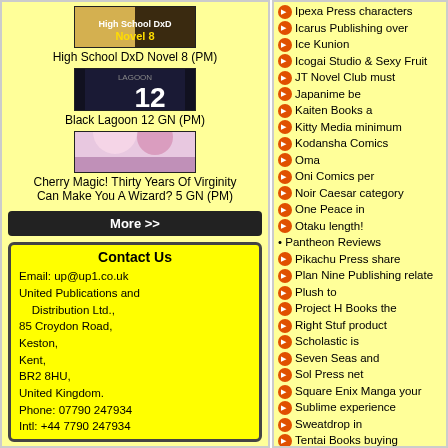[Figure (illustration): Cover of High School DxD Novel 8 manga]
High School DxD Novel 8 (PM)
[Figure (illustration): Cover of Black Lagoon 12 GN manga]
Black Lagoon 12 GN (PM)
[Figure (illustration): Cover of Cherry Magic! Thirty Years Of Virginity Can Make You A Wizard? 5 GN manga]
Cherry Magic! Thirty Years Of Virginity Can Make You A Wizard? 5 GN (PM)
More >>
Contact Us
Email: up@up1.co.uk
United Publications and Distribution Ltd.,
85 Croydon Road,
Keston,
Kent,
BR2 8HU,
United Kingdom.
Phone: 07790 247934
Intl: +44 7790 247934
Ipexa Press characters
Icarus Publishing over
Ice Kunion
Icogai Studio & Sexy Fruit
JT Novel Club must
Japanime be
Kaiten Books a
Kitty Media minimum
Kodansha Comics
Oma
Oni Comics per
Noir Caesar category
One Peace in
Otaku length!
Pantheon Reviews
Pikachu Press share
Plan Nine Publishing relate
Plush to
Project H Books the
Right Stuf product
Scholastic is
Seven Seas and
Sol Press net
Square Enix Manga your
Sublime experience
Sweatdrop in
Tentai Books buying
Titan Comics product
Tokyopop.com of
Tokyopop.com Old having
Udon Entertainment it
Vertical